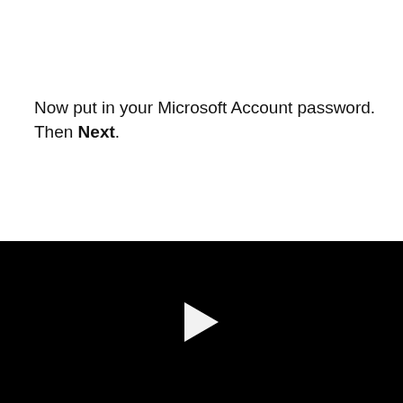Now put in your Microsoft Account password. Then Next.
[Figure (screenshot): Black video player area with a white play button triangle in the center]